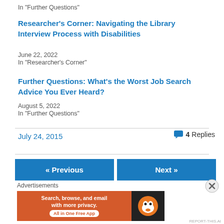In "Further Questions"
Researcher's Corner: Navigating the Library Interview Process with Disabilities
June 22, 2022
In "Researcher's Corner"
Further Questions: What's the Worst Job Search Advice You Ever Heard?
August 5, 2022
In "Further Questions"
July 24, 2015
4 Replies
« Previous
Next »
Advertisements
[Figure (infographic): DuckDuckGo advertisement banner: orange section with text 'Search, browse, and email with more privacy. All in One Free App' and dark right section with DuckDuckGo duck logo]